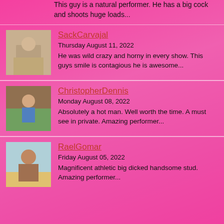This guy is a natural performer. He has a big cock and shoots huge loads...
[Figure (photo): Thumbnail photo of SackCarvajal performer]
SackCarvajal
Thursday August 11, 2022
He was wild crazy and horny in every show. This guys smile is contagious he is awesome...
[Figure (photo): Thumbnail photo of ChristopherDennis performer]
ChristopherDennis
Monday August 08, 2022
Absolutely a hot man. Well worth the time. A must see in private. Amazing performer...
[Figure (photo): Thumbnail photo of RaelGomar performer]
RaelGomar
Friday August 05, 2022
Magnificent athletic big dicked handsome stud. Amazing performer...